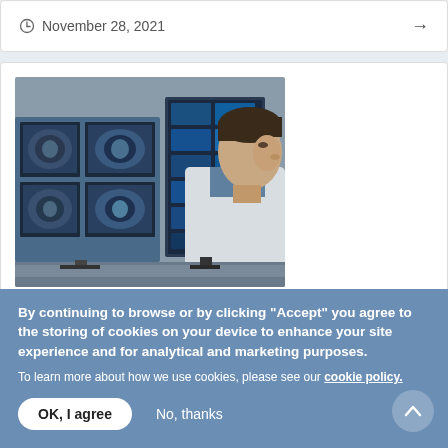November 28, 2021
[Figure (photo): A physician or radiologist in a white coat viewing medical imaging scans (CT/MRI brain scans) on dual monitors in a clinical setting]
NEWS | ARTIFICIAL INTELLIGENCE
By continuing to browse or by clicking "Accept" you agree to the storing of cookies on your device to enhance your site experience and for analytical and marketing purposes.
To learn more about how we use cookies, please see our cookie policy.
OK, I agree
No, thanks